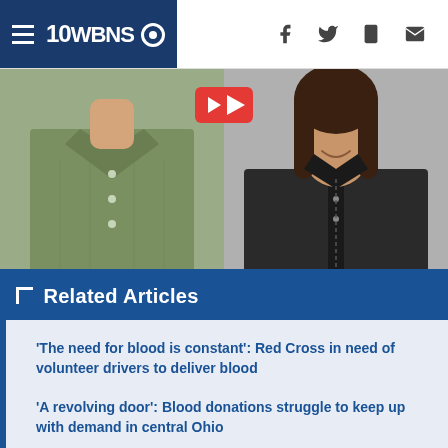10WBNS CBS
[Figure (photo): Two people side by side: left person wearing green shirt (headless/torso visible), right person is a woman with dark hair and black jacket, smiling. Red YouTube-style play button overlay at top center.]
Related Articles
'The need for blood is constant': Red Cross in need of volunteer drivers to deliver blood
'A revolving door': Blood donations struggle to keep up with demand in central Ohio